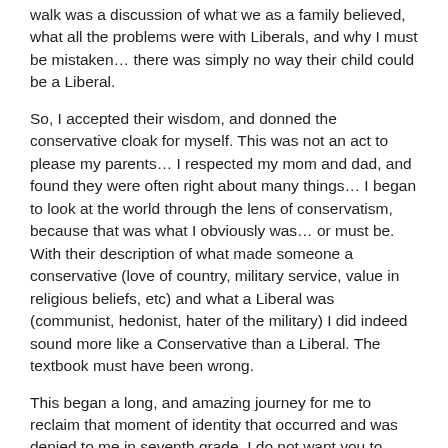( … ) walk was a discussion of what we as a family believed, what all the problems were with Liberals, and why I must be mistaken… there was simply no way their child could be a Liberal.
So, I accepted their wisdom, and donned the conservative cloak for myself. This was not an act to please my parents… I respected my mom and dad, and found they were often right about many things… I began to look at the world through the lens of conservatism, because that was what I obviously was… or must be. With their description of what made someone a conservative (love of country, military service, value in religious beliefs, etc) and what a Liberal was (communist, hedonist, hater of the military) I did indeed sound more like a Conservative than a Liberal. The textbook must have been wrong.
This began a long, and amazing journey for me to reclaim that moment of identity that occurred and was denied to me in seventh grade. I do not want you to think I attach any bitterness to this, because I do not. I would not trade that journey for anything. There are some places along the way where people could have been more helpful, and I'll mention a few of those. But I have a deeper appreciation of who I am, of what our American political system is, and of why I hold to the beliefs, identity, and values I do than I would have any other way. For this gift, I'm thankful for the time and the journey it took to obtain. For in that